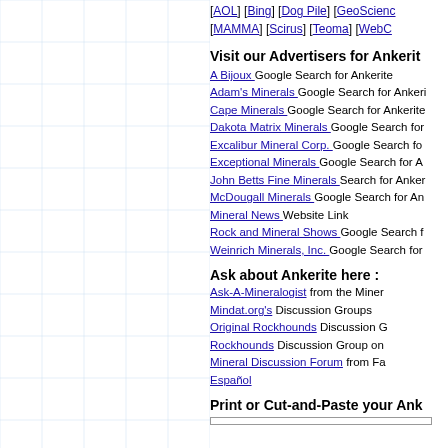[AOL] [Bing] [Dog Pile] [GeoScience] [MAMMA] [Scirus] [Teoma] [WebC...]
Visit our Advertisers for Ankerite
A Bijoux Google Search for Ankerite
Adam's Minerals Google Search for Ankerite
Cape Minerals Google Search for Ankerite
Dakota Matrix Minerals Google Search for...
Excalibur Mineral Corp. Google Search for...
Exceptional Minerals Google Search for An...
John Betts Fine Minerals Search for Anker...
McDougall Minerals Google Search for An...
Mineral News Website Link
Rock and Mineral Shows Google Search f...
Weinrich Minerals, Inc. Google Search for...
Ask about Ankerite here :
Ask-A-Mineralogist from the Miner...
Mindat.org's Discussion Groups
Original Rockhounds Discussion G...
Rockhounds Discussion Group on...
Mineral Discussion Forum from Fa...
Español
Print or Cut-and-Paste your Ank...